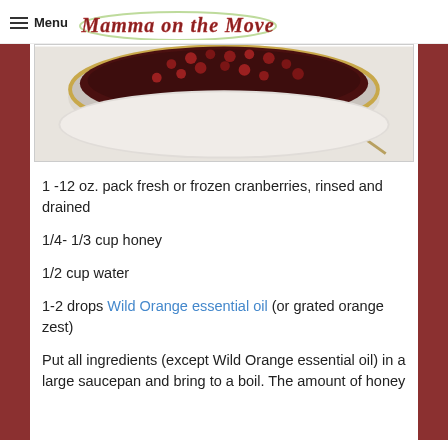Menu | Mamma on the Move
[Figure (photo): A white bowl filled with dark cranberry sauce with whole cranberries visible, with a spoon beside it on a light surface.]
1 -12 oz. pack fresh or frozen cranberries, rinsed and drained
1/4- 1/3 cup honey
1/2 cup water
1-2 drops Wild Orange essential oil (or grated orange zest)
Put all ingredients (except Wild Orange essential oil) in a large saucepan and bring to a boil. The amount of honey